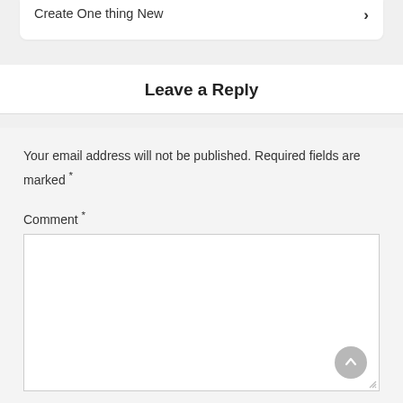... Content With Custom, No Time to Create One thing New
Leave a Reply
Your email address will not be published. Required fields are marked *
Comment *